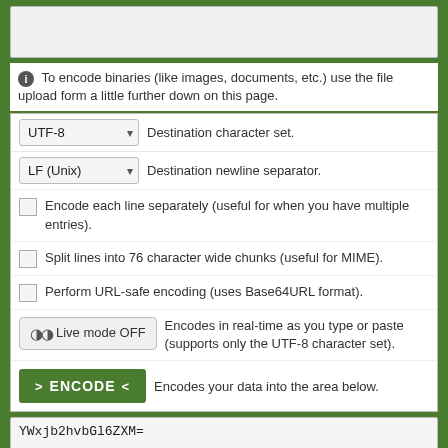[Figure (screenshot): Textarea input box at top, grayed out with resize handle]
To encode binaries (like images, documents, etc.) use the file upload form a little further down on this page.
UTF-8   Destination character set.
LF (Unix)   Destination newline separator.
Encode each line separately (useful for when you have multiple entries).
Split lines into 76 character wide chunks (useful for MIME).
Perform URL-safe encoding (uses Base64URL format).
Live mode OFF   Encodes in real-time as you type or paste (supports only the UTF-8 character set).
ENCODE   Encodes your data into the area below.
YWxjb2hvbGl6ZXM=